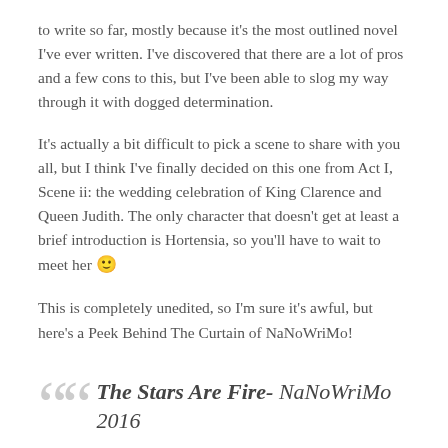to write so far, mostly because it's the most outlined novel I've ever written. I've discovered that there are a lot of pros and a few cons to this, but I've been able to slog my way through it with dogged determination.
It's actually a bit difficult to pick a scene to share with you all, but I think I've finally decided on this one from Act I, Scene ii: the wedding celebration of King Clarence and Queen Judith. The only character that doesn't get at least a brief introduction is Hortensia, so you'll have to wait to meet her 🙂
This is completely unedited, so I'm sure it's awful, but here's a Peek Behind The Curtain of NaNoWriMo!
The Stars Are Fire- NaNoWriMo 2016